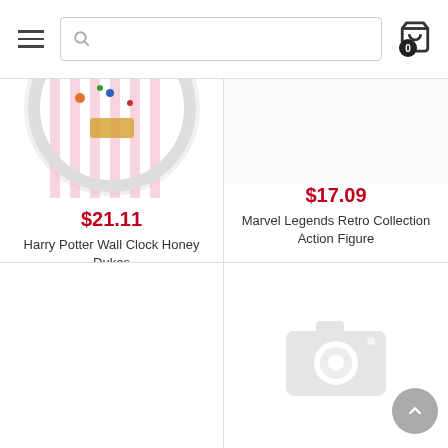[Figure (screenshot): Navigation header with hamburger menu, search bar, and shopping cart icon with badge showing 0]
[Figure (photo): Harry Potter Wall Clock Honey Dukes product image - circular clock with pink striped background and candy/Hogwarts motifs, partially cropped at top]
$21.11
Harry Potter Wall Clock Honey Dukes
$17.09
Marvel Legends Retro Collection Action Figure
[Figure (other): Empty product cell - no image loaded]
[Figure (other): Product cell with camera placeholder icon indicating no image available]